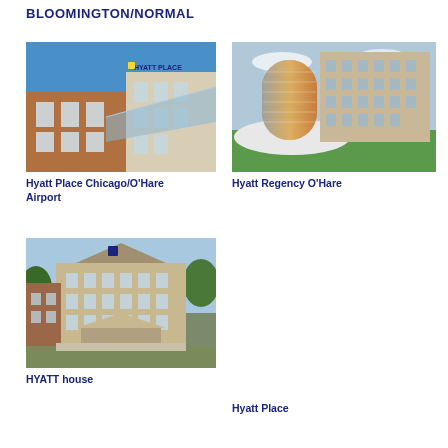BLOOMINGTON/NORMAL
[Figure (photo): Exterior photo of Hyatt Place Chicago/O'Hare Airport building with brick facade, glass canopy, and blue sky]
Hyatt Place Chicago/O'Hare Airport
[Figure (photo): Exterior photo of Hyatt Regency O'Hare with glass cylindrical tower and large hotel building on green lawn]
Hyatt Regency O'Hare
[Figure (photo): Exterior photo of HYATT house with brick hotel facade and porte-cochere entrance]
HYATT house
Hyatt Place